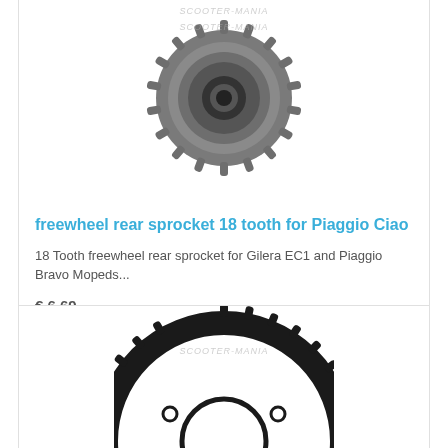[Figure (photo): Freewheel rear sprocket 18 tooth product photo, circular metal gear sprocket on white background with scooter-mania watermark]
freewheel rear sprocket 18 tooth for Piaggio Ciao
18 Tooth freewheel rear sprocket for Gilera EC1 and Piaggio Bravo Mopeds...
€ 6.69
Ex Tax: € 5.63
[Figure (photo): Second product photo showing a larger black rear sprocket/chainring with mounting holes, scooter-mania watermark visible]